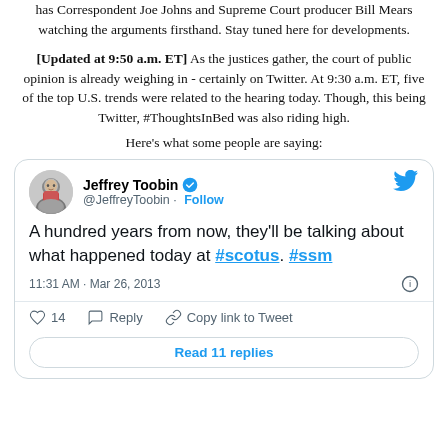has Correspondent Joe Johns and Supreme Court producer Bill Mears watching the arguments firsthand. Stay tuned here for developments.
[Updated at 9:50 a.m. ET] As the justices gather, the court of public opinion is already weighing in - certainly on Twitter. At 9:30 a.m. ET, five of the top U.S. trends were related to the hearing today. Though, this being Twitter, #ThoughtsInBed was also riding high.
Here’s what some people are saying:
[Figure (screenshot): Embedded tweet by Jeffrey Toobin (@JeffreyToobin) with Follow button and blue Twitter bird icon. Tweet text: 'A hundred years from now, they'll be talking about what happened today at #scotus. #ssm'. Timestamp: 11:31 AM · Mar 26, 2013. Actions: 14 likes, Reply, Copy link to Tweet. Footer: Read 11 replies.]